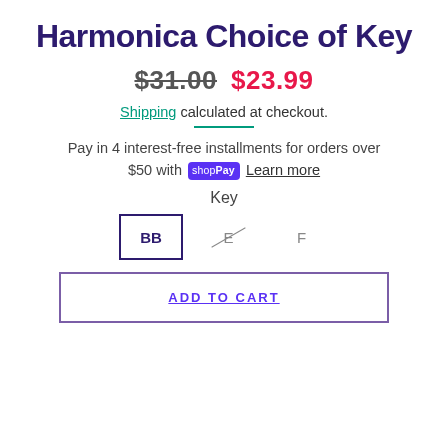Harmonica Choice of Key
$31.00 $23.99
Shipping calculated at checkout.
Pay in 4 interest-free installments for orders over $50 with shop Pay Learn more
Key
BB E F
ADD TO CART